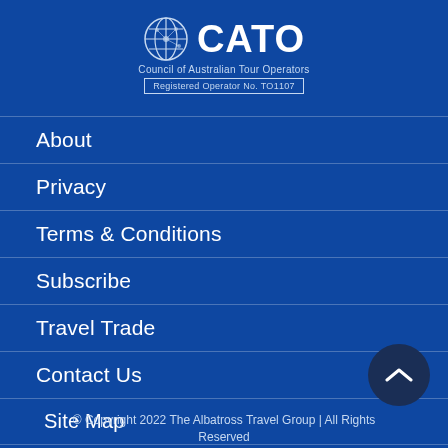[Figure (logo): CATO - Council of Australian Tour Operators logo with globe icon and 'Registered Operator No. TO1107' badge]
About
Privacy
Terms & Conditions
Subscribe
Travel Trade
Contact Us
Site Map
© Copyright 2022 The Albatross Travel Group | All Rights Reserved